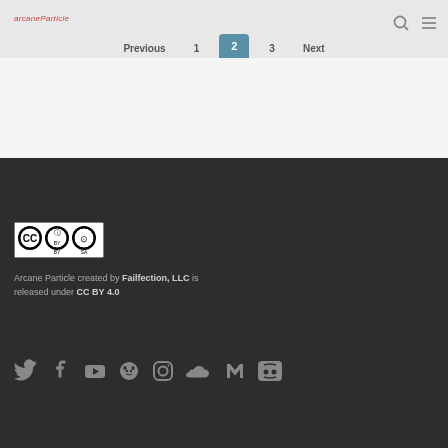arcaneParticle
Previous  1  2  3  Next
[Figure (logo): Creative Commons CC BY SA license badge]
Arcane Particle created by Failfection, LLC is released under CC BY 4.0
[Figure (other): Social media icons: Twitter, Facebook, YouTube, GitHub/Gitlab, Instagram, SoundCloud, Kick/Media, Discord]